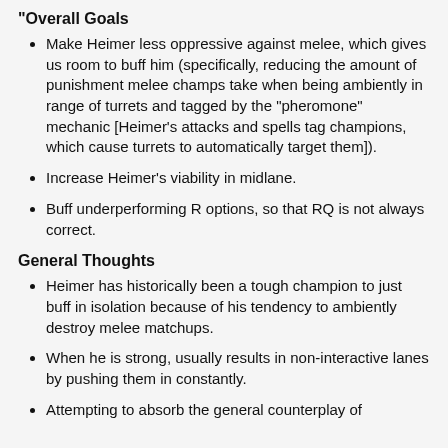"Overall Goals
Make Heimer less oppressive against melee, which gives us room to buff him (specifically, reducing the amount of punishment melee champs take when being ambiently in range of turrets and tagged by the "pheromone" mechanic [Heimer's attacks and spells tag champions, which cause turrets to automatically target them]).
Increase Heimer's viability in midlane.
Buff underperforming R options, so that RQ is not always correct.
General Thoughts
Heimer has historically been a tough champion to just buff in isolation because of his tendency to ambiently destroy melee matchups.
When he is strong, usually results in non-interactive lanes by pushing them in constantly.
Attempting to absorb the general counterplay of